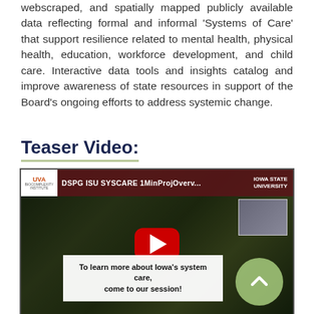webscraped, and spatially mapped publicly available data reflecting formal and informal 'Systems of Care' that support resilience related to mental health, physical health, education, workforce development, and child care. Interactive data tools and insights catalog and improve awareness of state resources in support of the Board's ongoing efforts to address systemic change.
Teaser Video:
[Figure (screenshot): YouTube video thumbnail for 'DSPG ISU SYSCARE 1MinProjOverv' showing a university building with trees, UVA Biocomplexity Institute logo on left, Iowa State University logo on right, red YouTube play button in center, and a caption box reading 'To learn more about Iowa's system care, come to our session!' with an up-arrow circle button.]